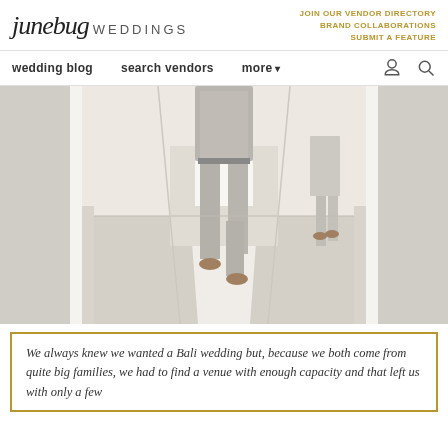junebug WEDDINGS | JOIN OUR VENDOR DIRECTORY | BRAND COLLABORATIONS | SUBMIT A FEATURE
wedding blog  search vendors  more
[Figure (photo): Groom walking down a bright corridor in a grey vest and grey trousers with brown shoes, another person visible in the background in the same corridor.]
We always knew we wanted a Bali wedding but, because we both come from quite big families, we had to find a venue with enough capacity and that left us with only a few